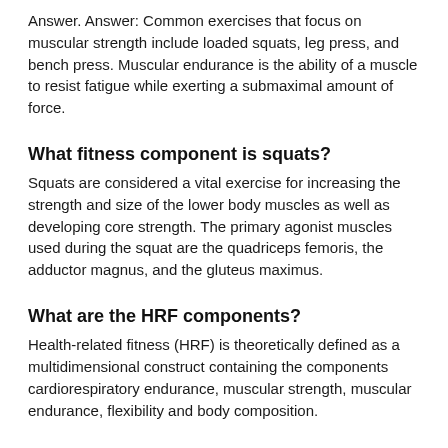Answer. Answer: Common exercises that focus on muscular strength include loaded squats, leg press, and bench press. Muscular endurance is the ability of a muscle to resist fatigue while exerting a submaximal amount of force.
What fitness component is squats?
Squats are considered a vital exercise for increasing the strength and size of the lower body muscles as well as developing core strength. The primary agonist muscles used during the squat are the quadriceps femoris, the adductor magnus, and the gluteus maximus.
What are the HRF components?
Health-related fitness (HRF) is theoretically defined as a multidimensional construct containing the components cardiorespiratory endurance, muscular strength, muscular endurance, flexibility and body composition.
What are the 5 components of HRF?